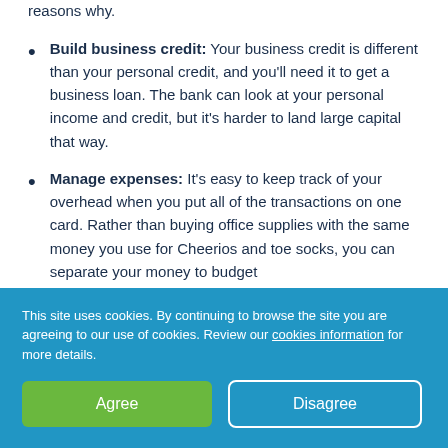reasons why.
Build business credit: Your business credit is different than your personal credit, and you'll need it to get a business loan. The bank can look at your personal income and credit, but it's harder to land large capital that way.
Manage expenses: It's easy to keep track of your overhead when you put all of the transactions on one card. Rather than buying office supplies with the same money you use for Cheerios and toe socks, you can separate your money to budget better.
Prepare taxes: If you keep all of your costs on one credit card, all you need is a copy of your statement to total your loss for the year. Then you'll easily be able to figure out your profit.
This site uses cookies. By continuing to browse the site you are agreeing to our use of cookies. Review our cookies information for more details.